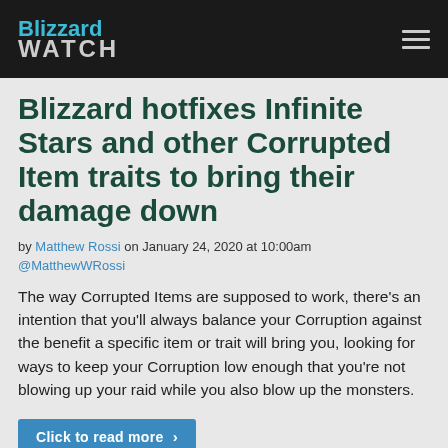Blizzard WATCH
Blizzard hotfixes Infinite Stars and other Corrupted Item traits to bring their damage down
by Matthew Rossi on January 24, 2020 at 10:00am @MatthewWRossi
The way Corrupted Items are supposed to work, there's an intention that you'll always balance your Corruption against the benefit a specific item or trait will bring you, looking for ways to keep your Corruption low enough that you're not blowing up your raid while you also blow up the monsters.
Click to read more >